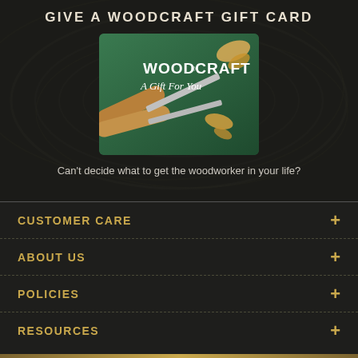GIVE A WOODCRAFT GIFT CARD
[Figure (photo): Woodcraft gift card showing carving tools on green background with text 'WOODCRAFT A Gift For You']
Can't decide what to get the woodworker in your life?
CUSTOMER CARE +
ABOUT US +
POLICIES +
RESOURCES +